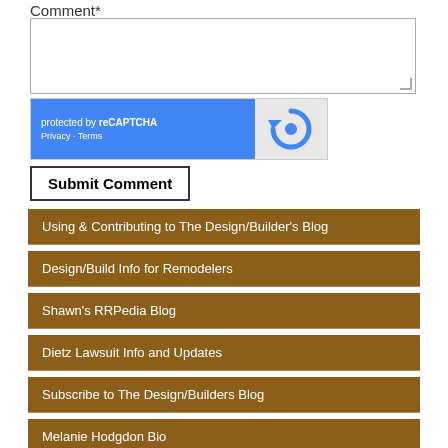Comment*
[Figure (screenshot): Comment textarea input field]
[Figure (screenshot): reCAPTCHA widget with blue background showing 'protected by reCAPTCHA' and Privacy - Terms links, with reCAPTCHA logo on gray right side]
Submit Comment
Using & Contributing to The Design/Builder's Blog
Design/Build Info for Remodelers
Shawn's RRPedia Blog
Dietz Lawsuit Info and Updates
Subscribe to The Design/Builders Blog
Melanie Hodgdon Bio
Subscribe by Email
Email*